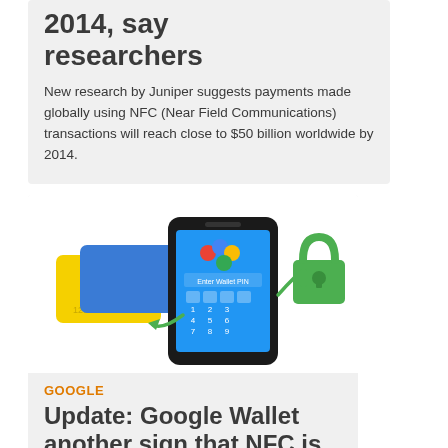2014, say researchers
New research by Juniper suggests payments made globally using NFC (Near Field Communications) transactions will reach close to $50 billion worldwide by 2014.
[Figure (photo): Smartphone with PIN entry screen showing NFC payment interface, credit cards on the left (yellow and blue), and a green padlock icon on the right connected by a green line, representing mobile NFC payment security.]
GOOGLE
Update: Google Wallet another sign that NFC is clos...